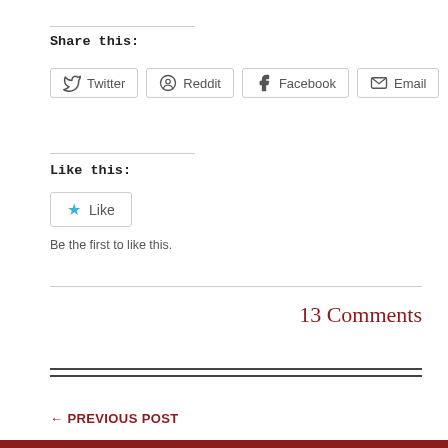Share this:
Twitter  Reddit  Facebook  Email
Like this:
Like
Be the first to like this.
13 Comments
← PREVIOUS POST